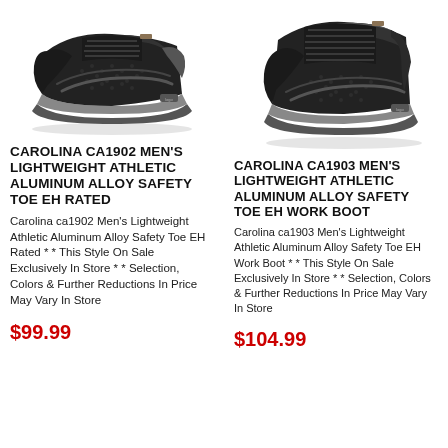[Figure (photo): Black athletic safety toe sneaker - Carolina CA1902, low cut, left side view]
CAROLINA CA1902 MEN'S LIGHTWEIGHT ATHLETIC ALUMINUM ALLOY SAFETY TOE EH RATED
Carolina ca1902 Men's Lightweight Athletic Aluminum Alloy Safety Toe EH Rated * * This Style On Sale Exclusively In Store * * Selection, Colors & Further Reductions In Price May Vary In Store
$99.99
[Figure (photo): Black athletic safety toe mid-cut boot - Carolina CA1903, right side view]
CAROLINA CA1903 MEN'S LIGHTWEIGHT ATHLETIC ALUMINUM ALLOY SAFETY TOE EH WORK BOOT
Carolina ca1903 Men's Lightweight Athletic Aluminum Alloy Safety Toe EH Work Boot * * This Style On Sale Exclusively In Store * * Selection, Colors & Further Reductions In Price May Vary In Store
$104.99